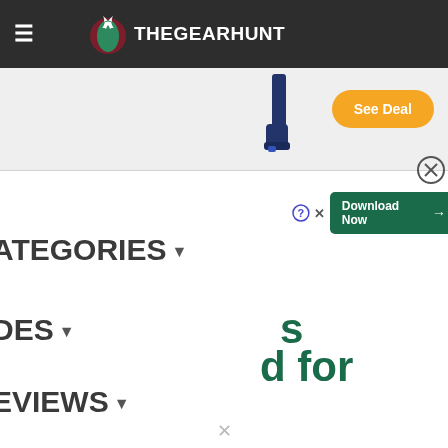THEGEARHUNT
[Figure (screenshot): Advertisement banner with boot image and orange See Deal button]
[Figure (screenshot): Download Now advertisement banner with green button]
ATEGORIES
DES
s
d for
EVIEWS
S